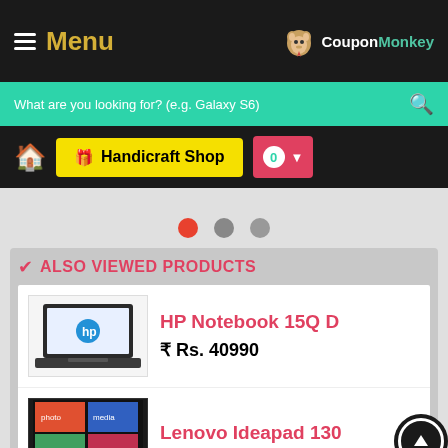Menu | CouponMonkey
What are you looking for? (e.g. Galaxy S6)
🏠 Handicraft Shop  0 ▾
[Figure (screenshot): Three carousel indicator dots: red, gray, gray]
✔ ALSO VIEWED PRODUCTS
HP Notebook 15Q D
₹ Rs. 40990
Lenovo Ideapad 130